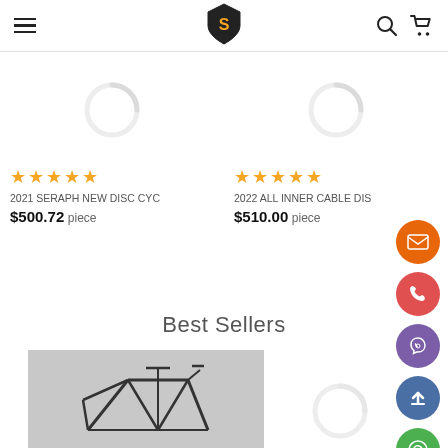Navigation header with hamburger menu, shield logo, search and cart icons
★★★★★
2021 SERAPH NEW DISC CYC  $500.72 piece
★★★★★
2022 ALL INNER CABLE DISC  $510.00 piece
Best Sellers
[Figure (photo): Black carbon bicycle frame against a light gray background]
[Figure (other): Loading spinner graphic]